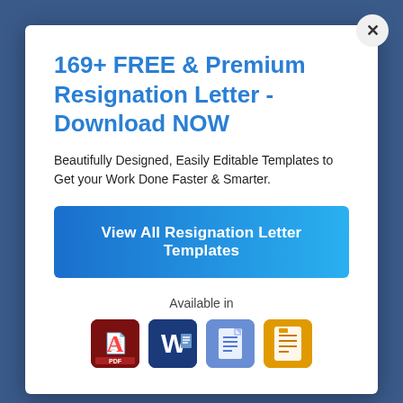169+ FREE & Premium Resignation Letter - Download NOW
Beautifully Designed, Easily Editable Templates to Get your Work Done Faster & Smarter.
View All Resignation Letter Templates
Available in
[Figure (illustration): Four app format icons: Adobe Acrobat (PDF), Microsoft Word, Google Docs, and Apple Pages]